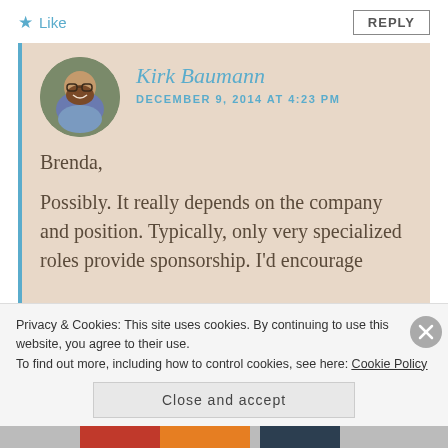Like
REPLY
Kirk Baumann
DECEMBER 9, 2014 AT 4:23 PM
Brenda,
Possibly. It really depends on the company and position. Typically, only very specialized roles provide sponsorship. I'd encourage
Privacy & Cookies: This site uses cookies. By continuing to use this website, you agree to their use.
To find out more, including how to control cookies, see here: Cookie Policy
Close and accept